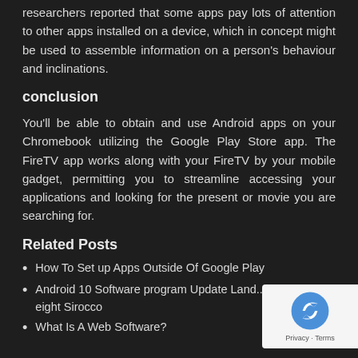researchers reported that some apps pay lots of attention to other apps installed on a device, which in concept might be used to assemble information on a person's behaviour and inclinations.
conclusion
You'll be able to obtain and use Android apps on your Chromebook utilizing the Google Play Store app. The FireTV app works along with your FireTV by your mobile gadget, permitting you to streamline accessing your applications and looking for the present or movie you are searching for.
Related Posts
How To Set up Apps Outside Of Google Play
Android 10 Software program Update Land... The Nokia eight Sirocco
What Is A Web Software?